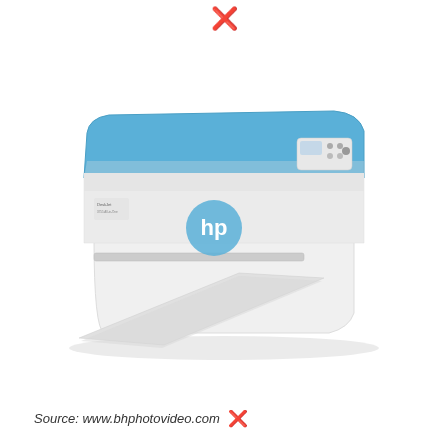[Figure (photo): HP DeskJet all-in-one printer in white with blue trim/lid, printing a photo of a woman with two young children at the beach. The HP logo is visible on the front. A small control panel is on the upper right. The printed photo extends from the paper output tray at the front-bottom of the printer.]
Source: www.bhphotovideo.com